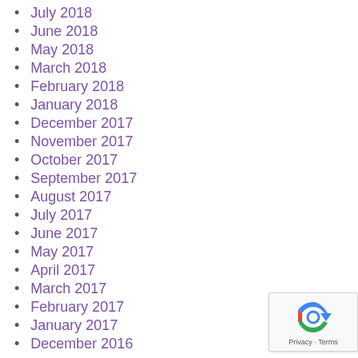July 2018
June 2018
May 2018
March 2018
February 2018
January 2018
December 2017
November 2017
October 2017
September 2017
August 2017
July 2017
June 2017
May 2017
April 2017
March 2017
February 2017
January 2017
December 2016